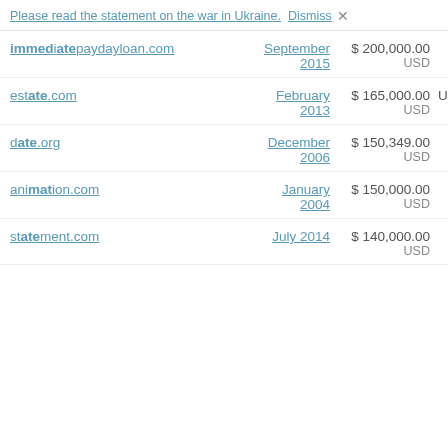Please read the statement on the war in Ukraine. Dismiss ×
| Domain | Date | Price | Buyer |
| --- | --- | --- | --- |
| immediatepaydayloan.com | September 2015 | $ 200,000.00 USD |  |
| estate.com | February 2013 | $ 165,000.00 USD | UpMarketD |
| date.org | December 2006 | $ 150,349.00 USD |  |
| animation.com | January 2004 | $ 150,000.00 USD |  |
| statement.com | July 2014 | $ 140,000.00 USD |  |